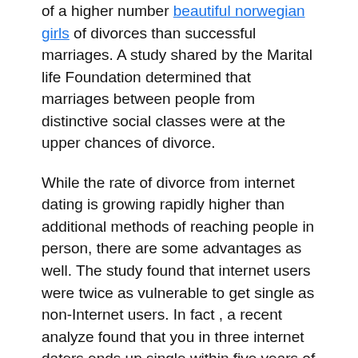of a higher number beautiful norwegian girls of divorces than successful marriages. A study shared by the Marital life Foundation determined that marriages between people from distinctive social classes were at the upper chances of divorce.
While the rate of divorce from internet dating is growing rapidly higher than additional methods of reaching people in person, there are some advantages as well. The study found that internet users were twice as vulnerable to get single as non-Internet users. In fact , a recent analyze found that you in three internet daters ends up single within five years of all their meeting. The very best divorce level was determined among people just who met one another through friends and family, accompanied by couples just who met through online dating.